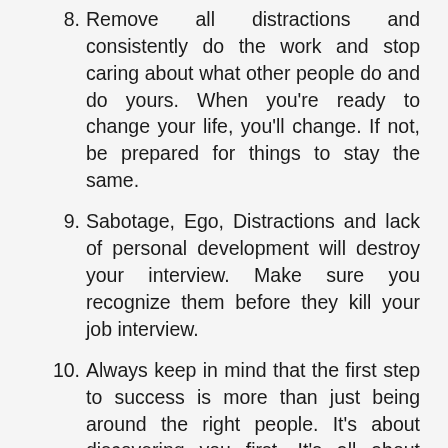(continuation) attention to what others who are not part of your plan are doing.
8. Remove all distractions and consistently do the work and stop caring about what other people do and do yours. When you're ready to change your life, you'll change. If not, be prepared for things to stay the same.
9. Sabotage, Ego, Distractions and lack of personal development will destroy your interview. Make sure you recognize them before they kill your job interview.
10. Always keep in mind that the first step to success is more than just being around the right people. It's about discovering you first. It's all about knowing who you are.
11. Start practicing control over your emotions. Learn to process emotions in a healthy manner, and then decide upon an